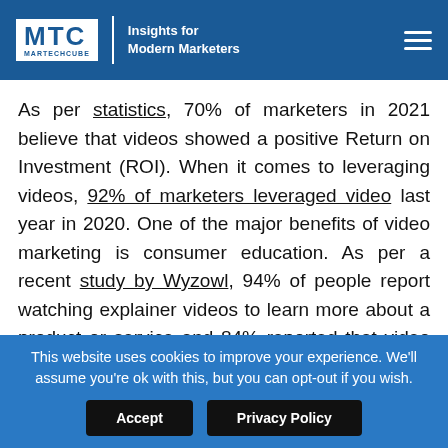MTC MARTECHCUBE | Insights for Modern Marketers
As per statistics, 70% of marketers in 2021 believe that videos showed a positive Return on Investment (ROI). When it comes to leveraging videos, 92% of marketers leveraged video last year in 2020. One of the major benefits of video marketing is consumer education. As per a recent study by Wyzowl, 94% of people report watching explainer videos to learn more about a product or service and 84% reported that video content influenced their purchase decision.
This website uses cookies to improve your experience. We'll assume you're ok with this, but you can opt-out if you wish. Accept | Privacy Policy